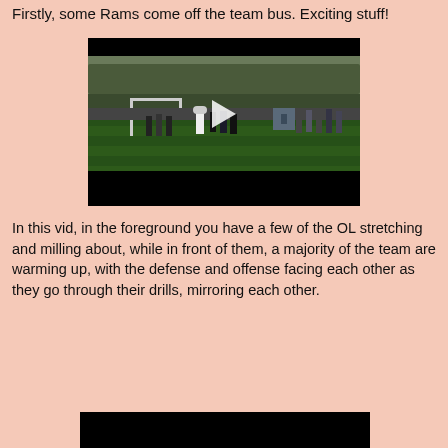Firstly, some Rams come off the team bus. Exciting stuff!
[Figure (screenshot): A video thumbnail showing a soccer/football training ground scene with players warming up. A soccer goal is visible on the left. A play button (triangle) is overlaid in the center. The video player has a black top bar and black bottom bar.]
In this vid, in the foreground you have a few of the OL stretching and milling about, while in front of them, a majority of the team are warming up, with the defense and offense facing each other as they go through their drills, mirroring each other.
[Figure (screenshot): A partially visible black video player bar at the bottom of the page.]